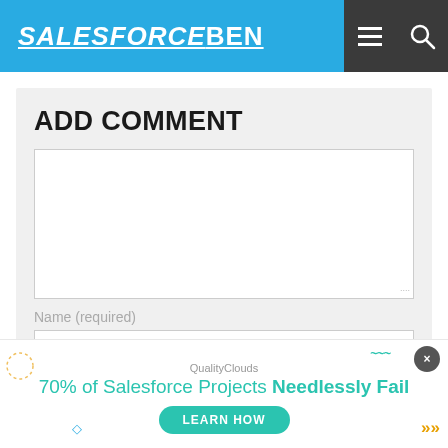SALESFORCEBEN
ADD COMMENT
Name (required)
[Figure (screenshot): Comment form with text area and Name (required) input field]
QualityClouds
70% of Salesforce Projects Needlessly Fail
LEARN HOW